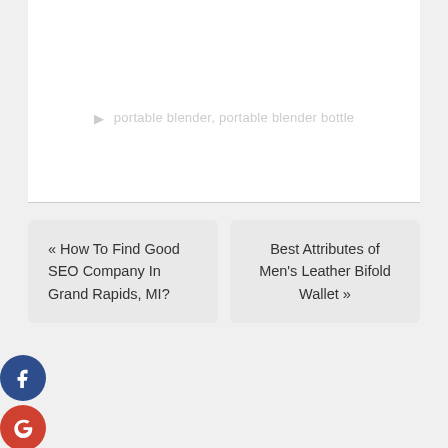portable blender, portable blender bottle
« How To Find Good SEO Company In Grand Rapids, MI?
Best Attributes of Men's Leather Bifold Wallet »
[Figure (infographic): Social media share buttons: Facebook (blue circle), Google+ (red circle), Twitter (light blue circle), Plus/More (dark blue circle)]